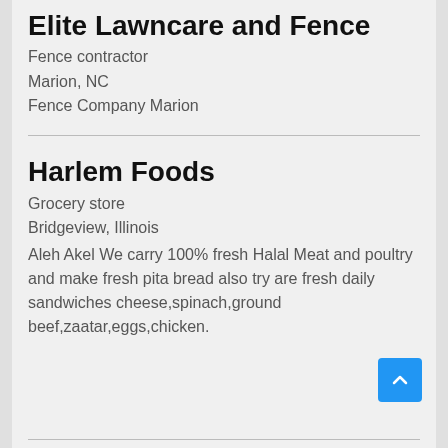Elite Lawncare and Fence
Fence contractor
Marion, NC
Fence Company Marion
Harlem Foods
Grocery store
Bridgeview, Illinois
Aleh Akel We carry 100% fresh Halal Meat and poultry and make fresh pita bread also try are fresh daily sandwiches cheese,spinach,ground beef,zaatar,eggs,chicken.